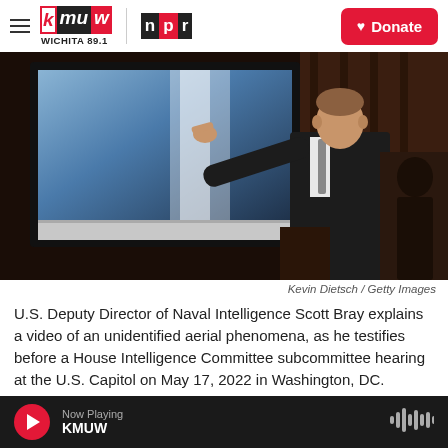KMUW Wichita 89.1 | NPR | Donate
[Figure (photo): U.S. Deputy Director of Naval Intelligence Scott Bray pointing at a large screen displaying a video of an unidentified aerial phenomenon, in a dark hearing room. He is wearing a dark suit and tie.]
Kevin Dietsch / Getty Images
U.S. Deputy Director of Naval Intelligence Scott Bray explains a video of an unidentified aerial phenomena, as he testifies before a House Intelligence Committee subcommittee hearing at the U.S. Capitol on May 17, 2022 in Washington, DC.
Now Playing KMUW